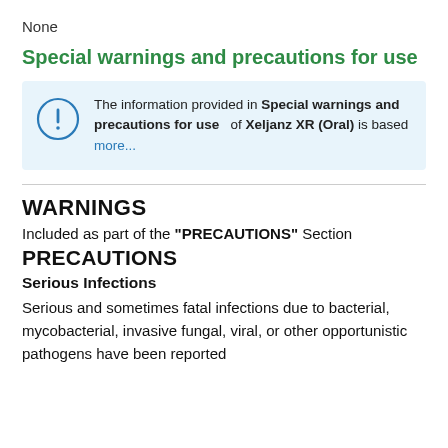None
Special warnings and precautions for use
The information provided in Special warnings and precautions for use of Xeljanz XR (Oral) is based more...
WARNINGS
Included as part of the "PRECAUTIONS" Section
PRECAUTIONS
Serious Infections
Serious and sometimes fatal infections due to bacterial, mycobacterial, invasive fungal, viral, or other opportunistic pathogens have been reported